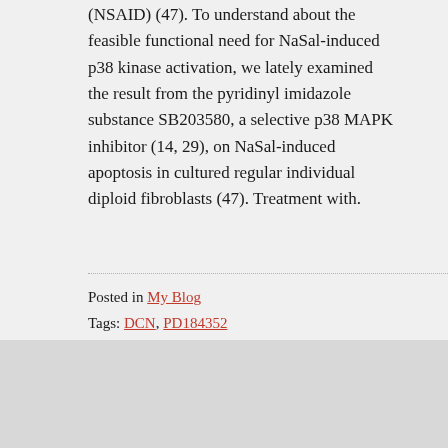(NSAID) (47). To understand about the feasible functional need for NaSal-induced p38 kinase activation, we lately examined the result from the pyridinyl imidazole substance SB203580, a selective p38 MAPK inhibitor (14, 29), on NaSal-induced apoptosis in cultured regular individual diploid fibroblasts (47). Treatment with.
Posted in My Blog
Tags: DCN, PD184352
Permalink